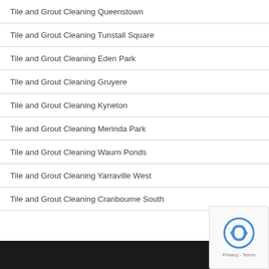Tile and Grout Cleaning Queenstown
Tile and Grout Cleaning Tunstall Square
Tile and Grout Cleaning Eden Park
Tile and Grout Cleaning Gruyere
Tile and Grout Cleaning Kyneton
Tile and Grout Cleaning Merinda Park
Tile and Grout Cleaning Waurn Ponds
Tile and Grout Cleaning Yarraville West
Tile and Grout Cleaning Cranbourne South
[Figure (other): Dark footer bar at bottom of page with reCAPTCHA privacy badge overlay]